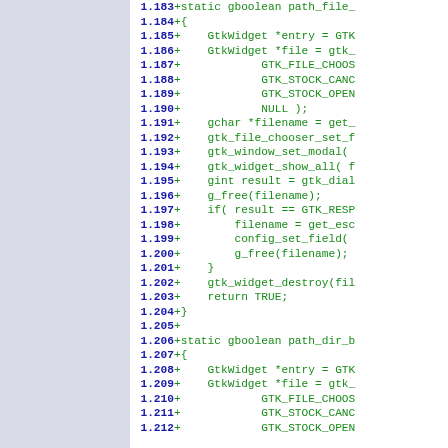[Figure (screenshot): Code diff view showing C source lines 1.183-1.212 with line numbers in bold blue and code in green monospace font. Left side has a gray sidebar panel.]